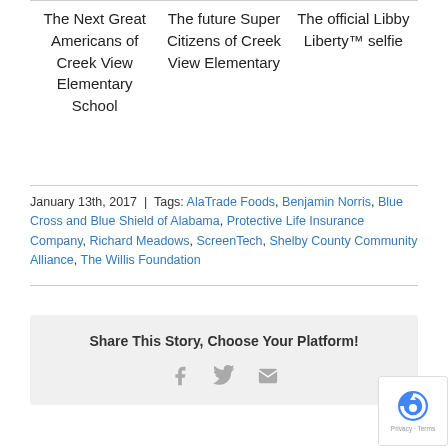| The Next Great Americans of Creek View Elementary School | The future Super Citizens of Creek View Elementary | The official Libby Liberty™ selfie |
| --- | --- | --- |
January 13th, 2017 | Tags: AlaTrade Foods, Benjamin Norris, Blue Cross and Blue Shield of Alabama, Protective Life Insurance Company, Richard Meadows, ScreenTech, Shelby County Community Alliance, The Willis Foundation
Share This Story, Choose Your Platform!